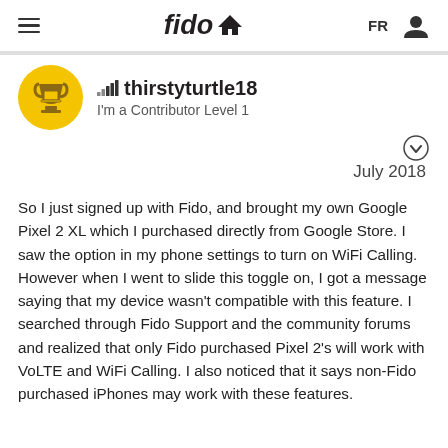fido — FR [user icon]
thirstyturtle18
I'm a Contributor Level 1
July 2018
So I just signed up with Fido, and brought my own Google Pixel 2 XL which I purchased directly from Google Store. I saw the option in my phone settings to turn on WiFi Calling. However when I went to slide this toggle on, I got a message saying that my device wasn't compatible with this feature. I searched through Fido Support and the community forums and realized that only Fido purchased Pixel 2's will work with VoLTE and WiFi Calling. I also noticed that it says non-Fido purchased iPhones may work with these features.